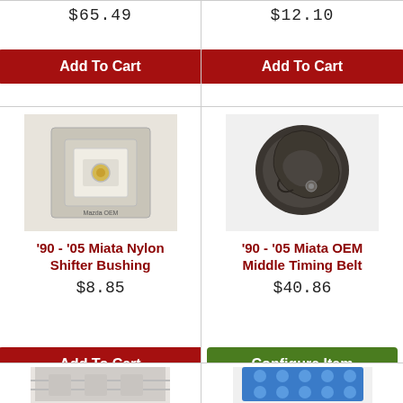$65.49
$12.10
[Figure (screenshot): Add To Cart button (red)]
[Figure (screenshot): Add To Cart button (red)]
[Figure (photo): Photo of '90-'05 Miata Nylon Shifter Bushing in packaging]
[Figure (photo): Photo of '90-'05 Miata OEM Middle Timing Belt cover, dark metal part]
'90 - '05 Miata Nylon Shifter Bushing
'90 - '05 Miata OEM Middle Timing Belt
$8.85
$40.86
[Figure (screenshot): Add To Cart button (red)]
[Figure (screenshot): Configure Item button (green)]
[Figure (photo): Partial photo of product (bottom, cropped)]
[Figure (photo): Partial photo of product (bottom, cropped, blue item)]